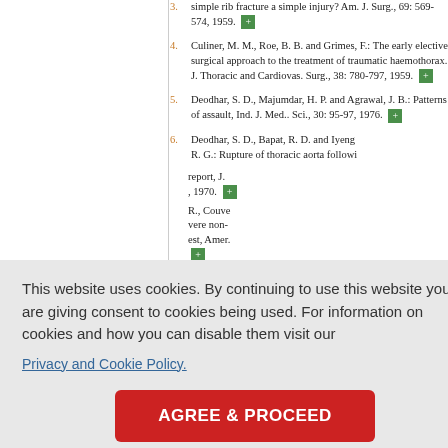3. Dougall, J. M. and Aull, A. W.: Is a simple rib fracture a simple injury? Am. J. Surg., 69: 569-574, 1959.
4. Culiner, M. M., Roe, B. B. and Grimes, F.: The early elective surgical approach to the treatment of traumatic haemothorax. J. Thoracic and Cardiovas. Surg., 38: 780-797, 1959.
5. Deodhar, S. D., Majumdar, H. P. and Agrawal, J. B.: Patterns of assault, Ind. J. Med.. Sci., 30: 95-97, 1976.
6. Deodhar, S. D., Bapat, R. D. and Iyengar, R. G.: Rupture of thoracic aorta following blunt trauma — a case report, J. ... , 1970.
This website uses cookies. By continuing to use this website you are giving consent to cookies being used. For information on cookies and how you can disable them visit our
Privacy and Cookie Policy.
AGREE & PROCEED